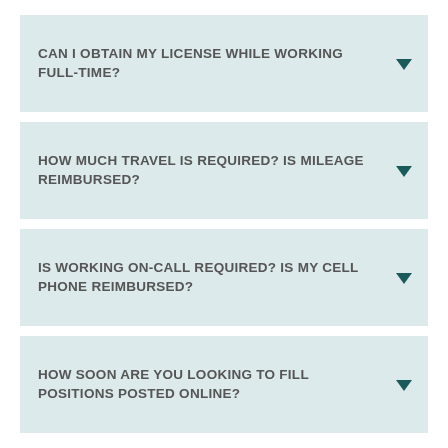CAN I OBTAIN MY LICENSE WHILE WORKING FULL-TIME?
HOW MUCH TRAVEL IS REQUIRED? IS MILEAGE REIMBURSED?
IS WORKING ON-CALL REQUIRED? IS MY CELL PHONE REIMBURSED?
HOW SOON ARE YOU LOOKING TO FILL POSITIONS POSTED ONLINE?